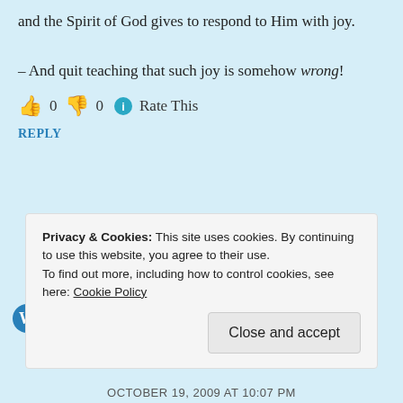and the Spirit of God gives to respond to Him with joy.
– And quit teaching that such joy is somehow wrong!
👍 0 👎 0 ℹ Rate This
REPLY
Privacy & Cookies: This site uses cookies. By continuing to use this website, you agree to their use.
To find out more, including how to control cookies, see here: Cookie Policy
Close and accept
OCTOBER 19, 2009 AT 10:07 PM